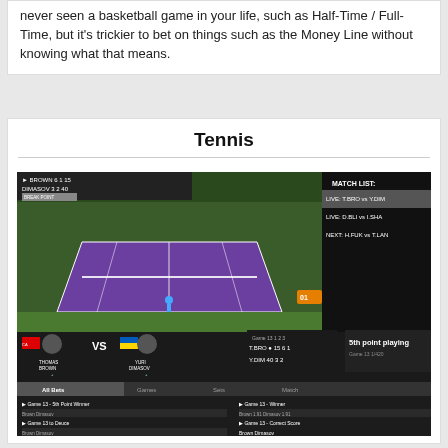never seen a basketball game in your life, such as Half-Time / Full-Time, but it's trickier to bet on things such as the Money Line without knowing what that means.
Tennis
[Figure (screenshot): Screenshot of a tennis video game interface showing a purple court with player Thomas Brown vs Yuri Dimasov. Match list on right shows LIVE: T.BRO vs Y.DIM, LIVE: D.BLI vs I.SHA, NEXT: H.FUK vs T.LAN. Score display shows T.BRO 15 6 1 and Y.DIM 40 3 2. Bottom panel shows All Bets, Games, Sets, Match tabs with betting options including Game 13 - 5th Point Winner, Game 13 to Deuce, Game 13 - Winner, Game 13 - Correct Score.]